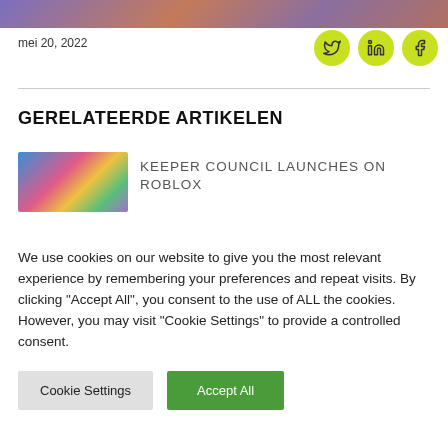[Figure (illustration): Colorful illustrated banner image at top of page]
mei 20, 2022
[Figure (other): Social media icons: Twitter, LinkedIn, Facebook on yellow-green circular backgrounds]
GERELATEERDE ARTIKELEN
[Figure (illustration): Article thumbnail image with colorful balloon/fantasy scene]
KEEPER COUNCIL LAUNCHES ON ROBLOX
We use cookies on our website to give you the most relevant experience by remembering your preferences and repeat visits. By clicking "Accept All", you consent to the use of ALL the cookies. However, you may visit "Cookie Settings" to provide a controlled consent.
Cookie Settings | Accept All